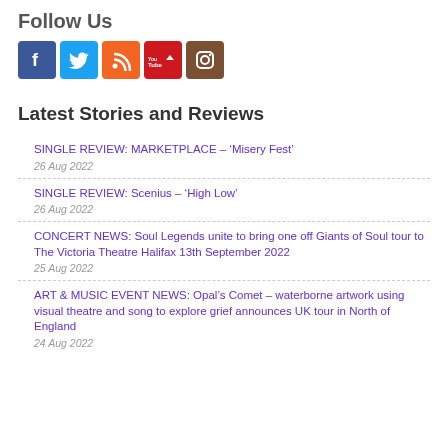Follow Us
[Figure (infographic): Row of social media icons: Facebook (blue), Twitter (blue), RSS (orange), YouTube (red/white), Instagram (brown)]
Latest Stories and Reviews
SINGLE REVIEW: MARKETPLACE – ‘Misery Fest’
26 Aug 2022
SINGLE REVIEW: Scenius – ‘High Low’
26 Aug 2022
CONCERT NEWS: Soul Legends unite to bring one off Giants of Soul tour to The Victoria Theatre Halifax 13th September 2022
25 Aug 2022
ART & MUSIC EVENT NEWS: Opal’s Comet – waterborne artwork using visual theatre and song to explore grief announces UK tour in North of England
24 Aug 2022